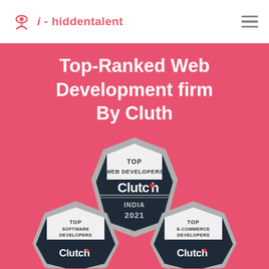i-hiddentalent
Top-Ranked Web Development firm By Cluth
[Figure (illustration): Three Clutch award badges arranged in a pyramid. Top center badge: TOP WEB DEVELOPERS Clutch INDIA 2021. Bottom left badge: TOP SOFTWARE DEVELOPERS Clutch. Bottom right badge: TOP E-COMMERCE DEVELOPERS Clutch.]